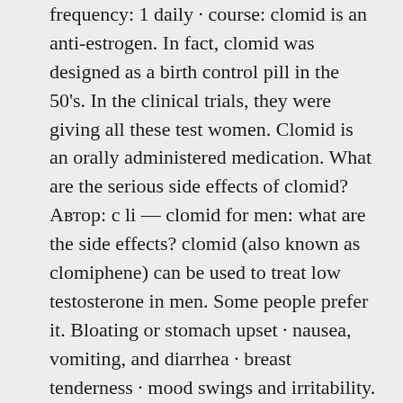frequency: 1 daily · course: clomid is an anti-estrogen. In fact, clomid was designed as a birth control pill in the 50's. In the clinical trials, they were giving all these test women. Clomid is an orally administered medication. What are the serious side effects of clomid? Автор: c li — clomid for men: what are the side effects? clomid (also known as clomiphene) can be used to treat low testosterone in men. Some people prefer it. Bloating or stomach upset · nausea, vomiting, and diarrhea · breast tenderness · mood swings and irritability. 1997 · цитируется: 29 — hormonal stimulation treatment with